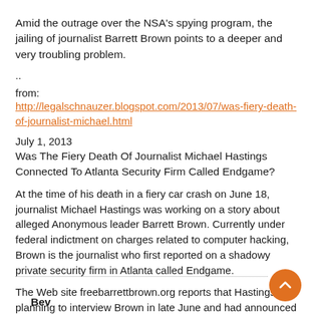Amid the outrage over the NSA's spying program, the jailing of journalist Barrett Brown points to a deeper and very troubling problem.
..
from:
http://legalschnauzer.blogspot.com/2013/07/was-fiery-death-of-journalist-michael.html
July 1, 2013
Was The Fiery Death Of Journalist Michael Hastings Connected To Atlanta Security Firm Called Endgame?
At the time of his death in a fiery car crash on June 18, journalist Michael Hastings was working on a story about alleged Anonymous leader Barrett Brown. Currently under federal indictment on charges related to computer hacking, Brown is the journalist who first reported on a shadowy private security firm in Atlanta called Endgame.
The Web site freebarrettbrown.org reports that Hastings was planning to interview Brown in late June and had announced to his followers, “Get ready for your mind to be blown.”
Bev